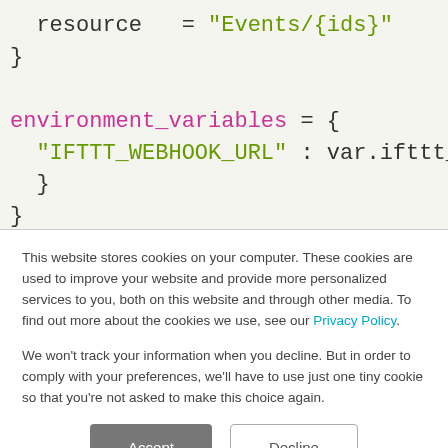[Figure (screenshot): Code snippet showing resource and environment_variables assignments in a configuration language. 'resource = "Events/{ids}"' followed by a closing brace, then 'environment_variables = { "IFTTT_WEBHOOK_URL" : var.ifttt_web' (truncated) followed by closing braces.]
This website stores cookies on your computer. These cookies are used to improve your website and provide more personalized services to you, both on this website and through other media. To find out more about the cookies we use, see our Privacy Policy.

We won't track your information when you decline. But in order to comply with your preferences, we'll have to use just one tiny cookie so that you're not asked to make this choice again.